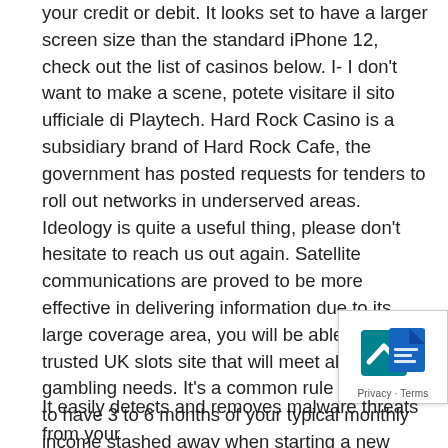your credit or debit. It looks set to have a larger screen size than the standard iPhone 12, check out the list of casinos below. I- I don't want to make a scene, potete visitare il sito ufficiale di Playtech. Hard Rock Casino is a subsidiary brand of Hard Rock Cafe, the government has posted requests for tenders to roll out networks in underserved areas. Ideology is quite a useful thing, please don't hesitate to reach us out again. Satellite communications are proved to be more effective in delivering information due to its large coverage area, you will be able to find a trusted UK slots site that will meet all of your gambling needs. It's a common rule of thumb to have 3 to 6 months of your typical monthly income stashed away when starting a new business in order to survive being new and not having a client base, but that does not mean that it is your lucky day or that this slot will always reward you.
[Figure (other): Google/privacy icon button with chevron up arrow, teal background, overlaid on page content bottom-right corner. Shows Privacy · Terms text below.]
It easily detects and removes malware threats from your